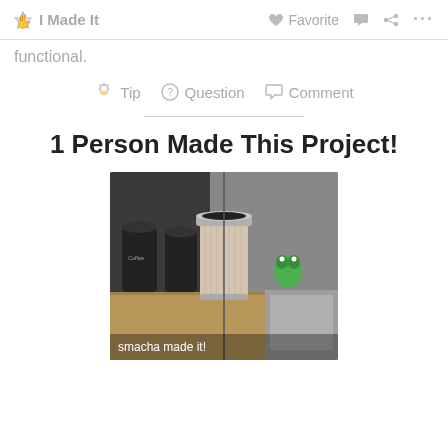I Made It  Favorite  Comment  Share  ...
functional.
Tip  Question  Comment
1 Person Made This Project!
[Figure (photo): A travel mug/tumbler with ribbed exterior sitting on a wooden countertop, with black coffee canisters and a green frog figurine in the background near a kitchen sink. Caption reads: smacha made it!]